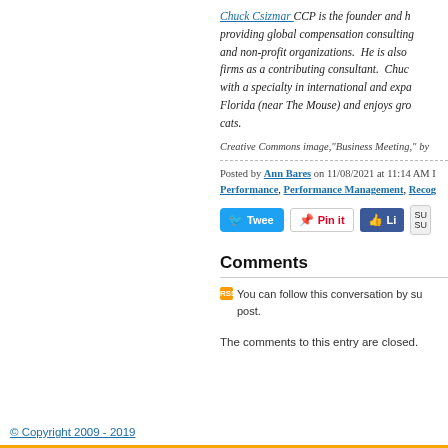Chuck Csizmar CCP is the founder and ... providing global compensation consulting ... and non-profit organizations. He is also ... firms as a contributing consultant. Chuc... with a specialty in international and expa... Florida (near The Mouse) and enjoys gro... cats.
Creative Commons image,"Business Meeting," by
Posted by Ann Bares on 11/08/2021 at 11:14 AM ... Performance, Performance Management, Recog...
[Figure (screenshot): Social sharing buttons: Tweet (Twitter), Pin it (Pinterest), Like (Facebook)]
Comments
You can follow this conversation by su... post.
The comments to this entry are closed.
© Copyright 2009 - 2019